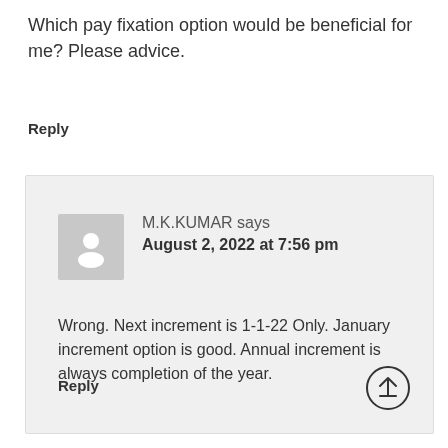Which pay fixation option would be beneficial for me? Please advice.
Reply
M.K.KUMAR says August 2, 2022 at 7:56 pm
Wrong. Next increment is 1-1-22 Only. January increment option is good. Annual increment is always completion of the year.
Reply